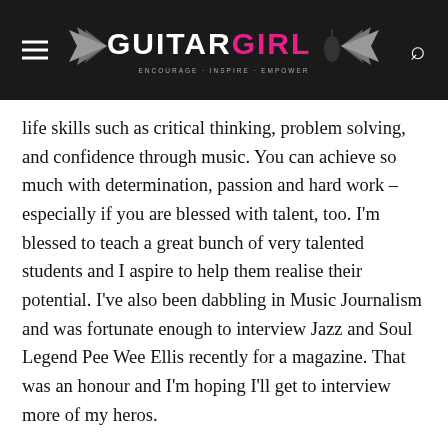Guitar Girl Magazine
life skills such as critical thinking, problem solving, and confidence through music. You can achieve so much with determination, passion and hard work – especially if you are blessed with talent, too. I'm blessed to teach a great bunch of very talented students and I aspire to help them realise their potential. I've also been dabbling in Music Journalism and was fortunate enough to interview Jazz and Soul Legend Pee Wee Ellis recently for a magazine. That was an honour and I'm hoping I'll get to interview more of my heros.
GGM: Let's talk about your charity 'Moving Mountains'; what exciting happenings are going on with it?
Dani: I'm involved in two charity projects in Kenya. One is with a fantastic charity called Moving Mountains. With their help and